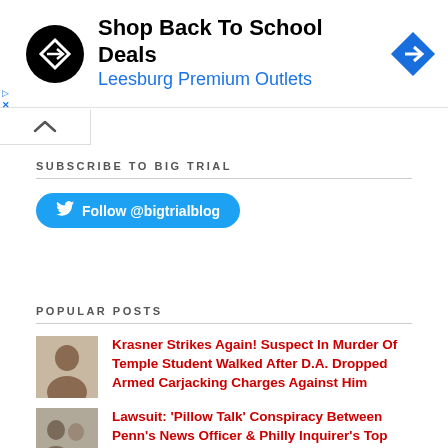[Figure (other): Advertisement banner: black circle logo with arrow icon, text 'Shop Back To School Deals / Leesburg Premium Outlets', blue diamond navigation icon on right]
[Figure (other): Scroll-up tab button with caret/chevron icon]
SUBSCRIBE TO BIG TRIAL
[Figure (other): Blue Twitter follow button with bird icon: Follow @bigtrialblog]
POPULAR POSTS
[Figure (photo): Thumbnail photo of a person's face]
Krasner Strikes Again! Suspect In Murder Of Temple Student Walked After D.A. Dropped Armed Carjacking Charges Against Him
[Figure (photo): Thumbnail photo of two people]
Lawsuit: 'Pillow Talk' Conspiracy Between Penn's News Officer & Philly Inquirer's Top Editor Targeted Grad Student For Smear Job